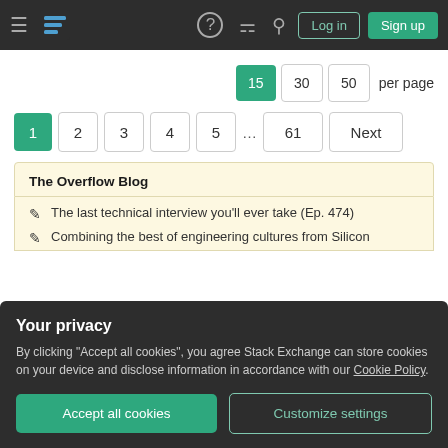Stack Exchange navigation bar with hamburger menu, logo, help, chat, search icons, Log in and Sign up buttons
15  30  50  per page
1  2  3  4  5  ...  61  Next
The Overflow Blog
The last technical interview you'll ever take (Ep. 474)
Combining the best of engineering cultures from Silicon
Your privacy
By clicking "Accept all cookies", you agree Stack Exchange can store cookies on your device and disclose information in accordance with our Cookie Policy.
Accept all cookies
Customize settings
Please welcome Valued Associate #1301 - Emerson